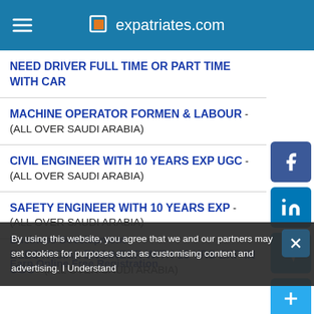expatriates.com
NEED DRIVER FULL TIME OR PART TIME WITH CAR
MACHINE OPERATOR FORMEN & LABOUR - (ALL OVER SAUDI ARABIA)
CIVIL ENGINEER WITH 10 YEARS EXP UGC - (ALL OVER SAUDI ARABIA)
SAFETY ENGINEER WITH 10 YEARS EXP - (ALL OVER SAUDI ARABIA)
ELECTRCIAL ENGINEER WITH 15 YRS EXP IN UGC - (ALL OVER SAUDI ARABIA)
Business Development
Earn Online Free Registration
By using this website, you agree that we and our partners may set cookies for purposes such as customising content and advertising. I Understand